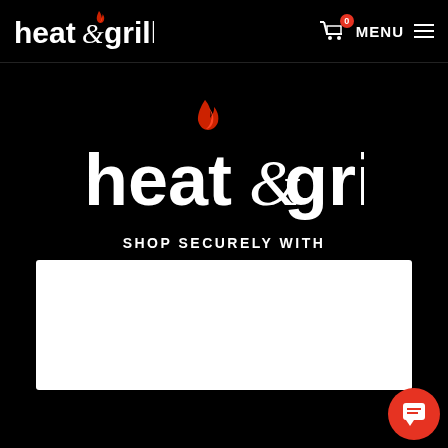[Figure (screenshot): heat&grill website screenshot showing navigation bar with logo, cart icon with badge showing 0, and MENU with hamburger icon]
[Figure (logo): heat&grill large center logo with flame icon above the ampersand, white text on black background]
SHOP SECURELY WITH
[Figure (other): White rectangular box showing payment/security options area]
[Figure (other): Red circular chat button in bottom right corner]